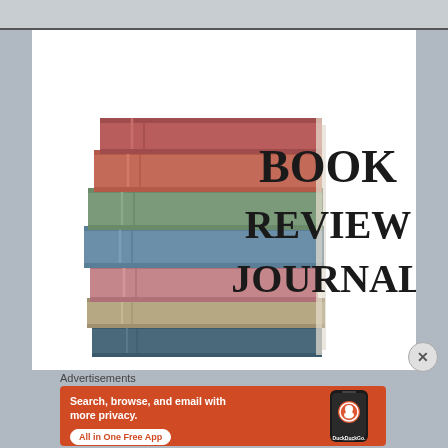[Figure (illustration): Book Review Journal cover image: a watercolor-style stack of colorful books (red, green, blue, pink, dark blue) on the left side, with bold serif text 'BOOK REVIEW JOURNAL' on the right side against a white background.]
Advertisements
[Figure (other): DuckDuckGo advertisement banner on orange/red background. Text: 'Search, browse, and email with more privacy. All in One Free App' with DuckDuckGo logo and phone image on the right.]